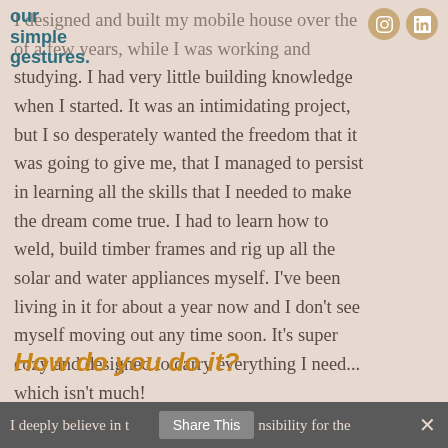our simple gestures
I designed and built my mobile house over the course of a few years, while I was working and studying. I had very little building knowledge when I started. It was an intimidating project, but I so desperately wanted the freedom that it was going to give me, that I managed to persist in learning all the skills that I needed to make the dream come true. I had to learn how to weld, build timber frames and rig up all the solar and water appliances myself. I've been living in it for about a year now and I don't see myself moving out any time soon. It's super cozy and designed to carry everything I need... which isn't much!
How do you do it?
I deeply believe in taking responsibility for the
Share This